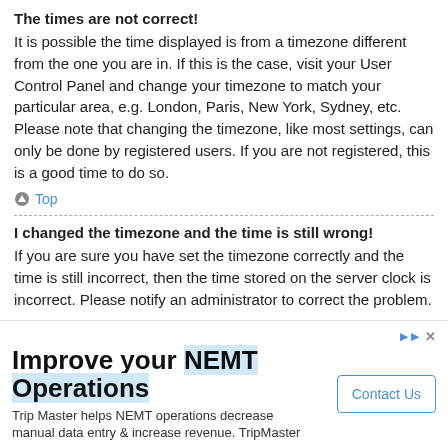The times are not correct!
It is possible the time displayed is from a timezone different from the one you are in. If this is the case, visit your User Control Panel and change your timezone to match your particular area, e.g. London, Paris, New York, Sydney, etc. Please note that changing the timezone, like most settings, can only be done by registered users. If you are not registered, this is a good time to do so.
Top
I changed the timezone and the time is still wrong!
If you are sure you have set the timezone correctly and the time is still incorrect, then the time stored on the server clock is incorrect. Please notify an administrator to correct the problem.
Top
My language is not in the list!
[Figure (infographic): Advertisement banner: Improve your NEMT Operations. Trip Master helps NEMT operations decrease manual data entry & increase revenue. TripMaster. Contact Us button.]